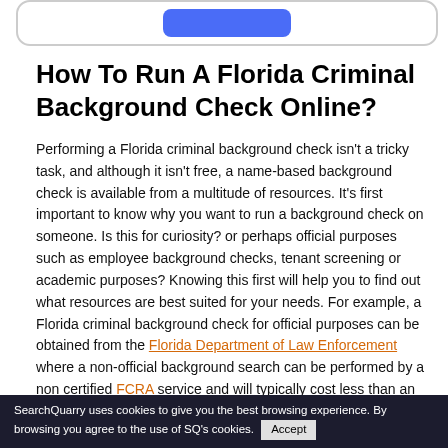How To Run A Florida Criminal Background Check Online?
Performing a Florida criminal background check isn't a tricky task, and although it isn't free, a name-based background check is available from a multitude of resources. It's first important to know why you want to run a background check on someone. Is this for curiosity? or perhaps official purposes such as employee background checks, tenant screening or academic purposes? Knowing this first will help you to find out what resources are best suited for your needs. For example, a Florida criminal background check for official purposes can be obtained from the Florida Department of Law Enforcement where a non-official background search can be performed by a non certified FCRA service and will typically cost less than an official background report.
Additionally, specific professional organizations in Florida opt
SearchQuarry uses cookies to give you the best browsing experience. By browsing you agree to the use of SQ's cookies. Accept